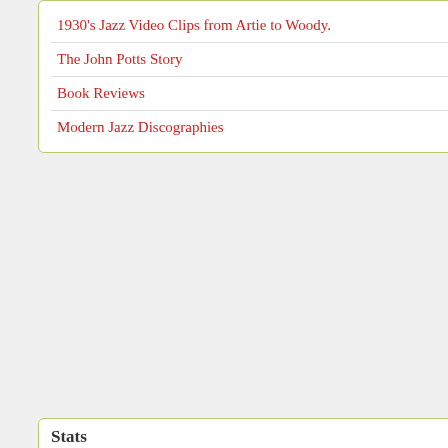1930's Jazz Video Clips from Artie to Woody.
The John Potts Story
Book Reviews
Modern Jazz Discographies
Stats
[Figure (other): StatCounter tracking badge: 'Tracked for free by statcounter.com' with green icon]
► November ( 100 )
► October ( 111 )
► September ( 117 )
► August ( 110 )
► July ( 110 )
► June ( 110 )
► May ( 135 )
► April ( 146 )
► March ( 167 )
► February ( 129 )
▼ January ( 149 )
Sunday Night @ The
Album review: Melb
Victor Feldman mee